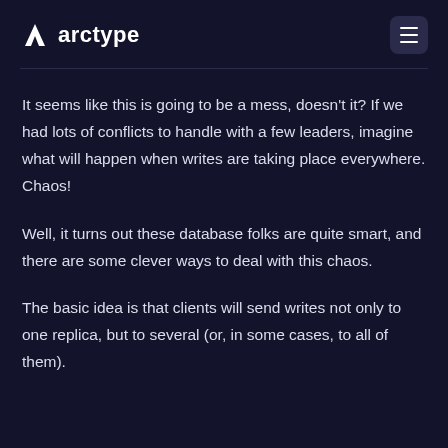arctype
It seems like this is going to be a mess, doesn't it? If we had lots of conflicts to handle with a few leaders, imagine what will happen when writes are taking place everywhere. Chaos!
Well, it turns out these database folks are quite smart, and there are some clever ways to deal with this chaos.
The basic idea is that clients will send writes not only to one replica, but to several (or, in some cases, to all of them).